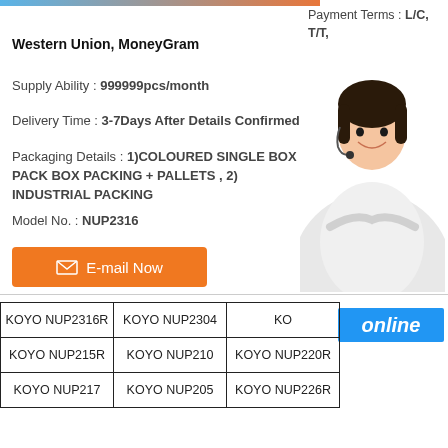Payment Terms : L/C, T/T,
Western Union, MoneyGram
Supply Ability : 999999pcs/month
Delivery Time : 3-7Days After Details Confirmed
Packaging Details : 1)COLOURED SINGLE BOX PACK BOX PACKING + PALLETS , 2) INDUSTRIAL PACKING
Model No. : NUP2316
[Figure (photo): Customer service representative woman with headset]
E-mail Now
online
| KOYO NUP2316R | KOYO NUP2304 | KO |
| KOYO NUP215R | KOYO NUP210 | KOYO NUP220R |
| KOYO NUP217 | KOYO NUP205 | KOYO NUP226R |